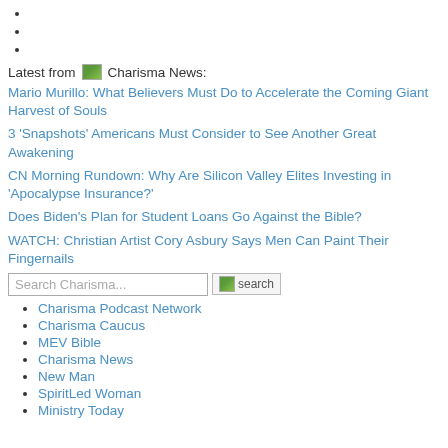Latest from Charisma News:
Mario Murillo: What Believers Must Do to Accelerate the Coming Giant Harvest of Souls
3 ‘Snapshots’ Americans Must Consider to See Another Great Awakening
CN Morning Rundown: Why Are Silicon Valley Elites Investing in ‘Apocalypse Insurance?’
Does Biden’s Plan for Student Loans Go Against the Bible?
WATCH: Christian Artist Cory Asbury Says Men Can Paint Their Fingernails
Search Charisma...
Charisma Podcast Network
Charisma Caucus
MEV Bible
Charisma News
New Man
SpiritLed Woman
Ministry Today